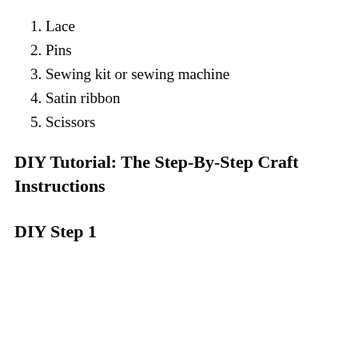1. Lace
2. Pins
3. Sewing kit or sewing machine
4. Satin ribbon
5. Scissors
DIY Tutorial: The Step-By-Step Craft Instructions
DIY Step 1